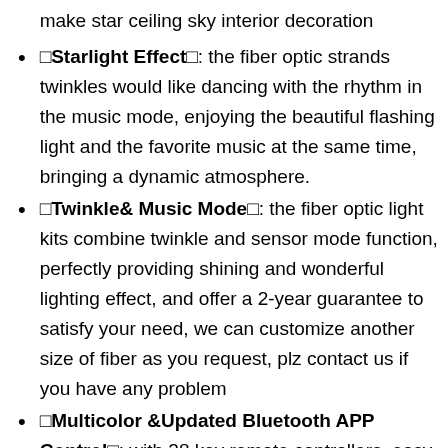make star ceiling sky interior decoration
✦Starlight Effect✦: the fiber optic strands twinkles would like dancing with the rhythm in the music mode, enjoying the beautiful flashing light and the favorite music at the same time, bringing a dynamic atmosphere.
✦Twinkle& Music Mode✦: the fiber optic light kits combine twinkle and sensor mode function, perfectly providing shining and wonderful lighting effect, and offer a 2-year guarantee to satisfy your need, we can customize another size of fiber as you request, plz contact us if you have any problem
✦Multicolor &Updated Bluetooth APP Control✦: with 28 key remote controllers, easy to choose